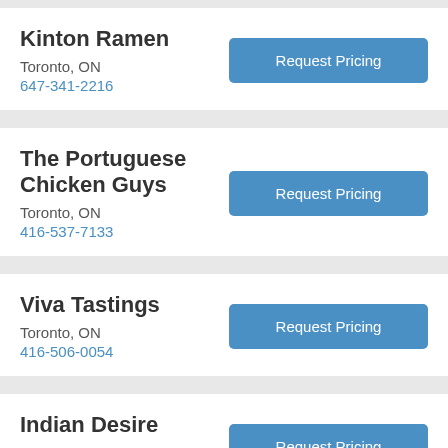Kinton Ramen
Toronto, ON
647-341-2216
The Portuguese Chicken Guys
Toronto, ON
416-537-7133
Viva Tastings
Toronto, ON
416-506-0054
Indian Desire
Toronto, ON
613-854-1833